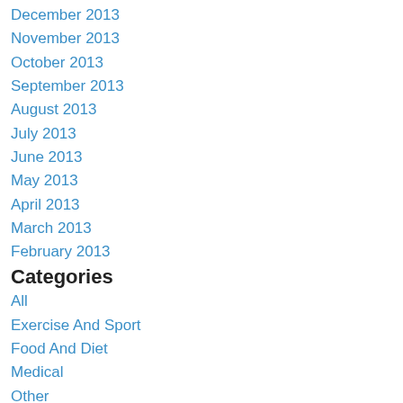December 2013
November 2013
October 2013
September 2013
August 2013
July 2013
June 2013
May 2013
April 2013
March 2013
February 2013
Categories
All
Exercise And Sport
Food And Diet
Medical
Other
Stress Relief
Travel
Weather